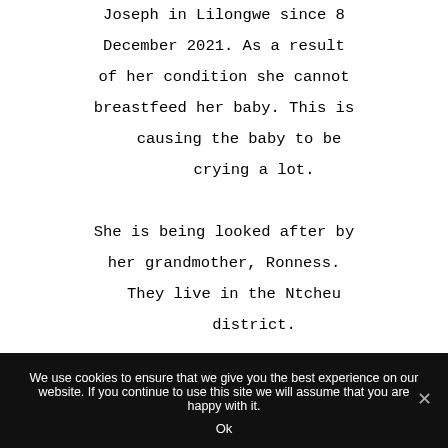Joseph in Lilongwe since 8 December 2021. As a result of her condition she cannot breastfeed her baby. This is causing the baby to be crying a lot.

She is being looked after by her grandmother, Ronness. They live in the Ntcheu district.
We use cookies to ensure that we give you the best experience on our website. If you continue to use this site we will assume that you are happy with it.
Ok